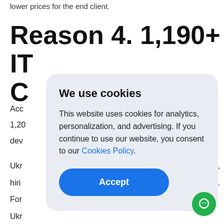lower prices for the end client.
Reason 4. 1,190+ IT C…
Acc… 1,20… dev…
Ukr… ng, hiri… es. For… Ukr…
[Figure (screenshot): Cookie consent modal dialog with title 'We use cookies', body text about cookies policy, a blue link 'Cookies Policy.' and a blue 'Accept' button]
[Figure (other): Green circular chat bubble icon in the bottom right corner]